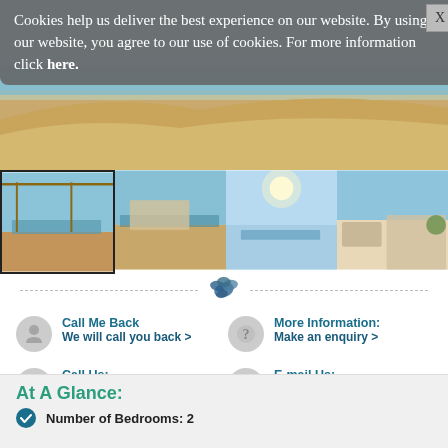Cookies help us deliver the best experience on our website. By using our website, you agree to our use of cookies. For more information click here.
[Figure (photo): Top hero image of a beach/sea scene]
[Figure (photo): Gallery of 4 thumbnail photos showing a coastal villa with pool and beach views]
[Figure (illustration): Small decorative leaf/plant icon centered on dashed divider line]
Call Me Back
We will call you back >
More Information:
Make an enquiry >
Call Us:
+44 (0) 1202 489040
E-mail Us:
Click here >
At A Glance:
Number of Bedrooms: 2